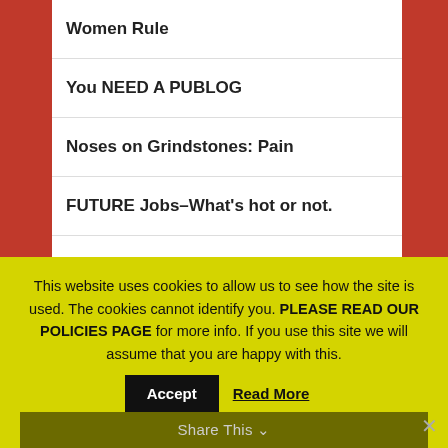Women Rule
You NEED A PUBLOG
Noses on Grindstones: Pain
FUTURE Jobs–What's hot or not.
Job Seeking? Follow Multiplier
Lots of Resumes but No Interviews
28 TIPS: Become MORE VALUABLE
This website uses cookies to allow us to see how the site is used. The cookies cannot identify you. PLEASE READ OUR POLICIES PAGE for more info. If you use this site we will assume that you are happy with this.
Share This